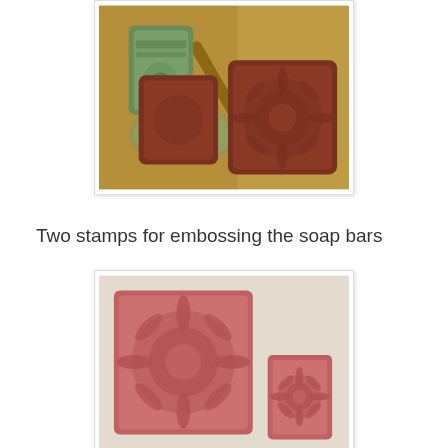[Figure (photo): Photo showing stamped soap bars on a wooden surface. Two reddish-brown square soap bars with floral/sunburst embossed patterns are visible, along with a green bar of soap, a wooden spoon handle, and a glass dish.]
Two stamps for embossing the soap bars
[Figure (photo): Photo showing two soap stamps on a light surface. A larger square pink/red stamp with a sunflower pattern and a smaller rectangular pink/red stamp with a smaller flower pattern.]